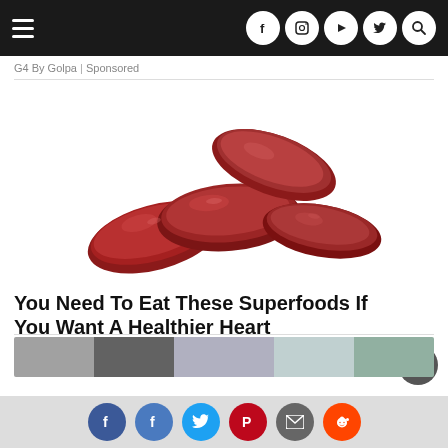Navigation bar with hamburger menu and social icons (Facebook, Instagram, YouTube, Twitter, Search)
G4 By Golpa | Sponsored
[Figure (photo): Photograph of dried red dates (jujube fruits) clustered together on a white background]
You Need To Eat These Superfoods If You Want A Healthier Heart
www.anymuscle.com | Sponsored
[Figure (photo): Partial image of another article preview visible at the bottom]
Social share buttons: Facebook, Facebook, Twitter, Pinterest, Email, Reddit